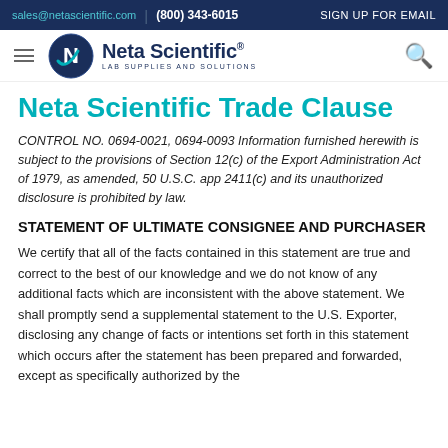sales@netascientific.com | (800) 343-6015 | SIGN UP FOR EMAIL
[Figure (logo): Neta Scientific logo with circular N emblem and text 'Neta Scientific LAB SUPPLIES AND SOLUTIONS']
Neta Scientific Trade Clause
CONTROL NO. 0694-0021, 0694-0093 Information furnished herewith is subject to the provisions of Section 12(c) of the Export Administration Act of 1979, as amended, 50 U.S.C. app 2411(c) and its unauthorized disclosure is prohibited by law.
STATEMENT OF ULTIMATE CONSIGNEE AND PURCHASER
We certify that all of the facts contained in this statement are true and correct to the best of our knowledge and we do not know of any additional facts which are inconsistent with the above statement. We shall promptly send a supplemental statement to the U.S. Exporter, disclosing any change of facts or intentions set forth in this statement which occurs after the statement has been prepared and forwarded, except as specifically authorized by the